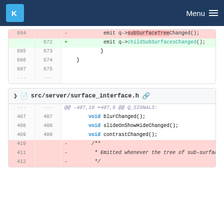KDE Menu
[Figure (screenshot): Code diff showing two sections: first diff block with lines 684-687 (old) and 672-675 (new) showing rename of subSurfaceTreeChanged to childSubSurfacesChanged; second diff block for src/server/surface_interface.h with lines 407-412 showing removal of a comment block about sub-surface tree changes.]